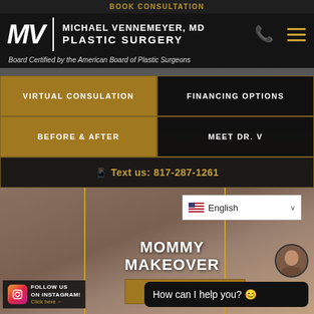BOOK CONSULTATION
MICHAEL VENNEMEYER, MD PLASTIC SURGERY
Board Certified by the American Board of Plastic Surgeons
VIRTUAL CONSULATION
FINANCING OPTIONS
BEFORE & AFTER
MEET DR. V
Text us: 817-287-1261
English
MOMMY MAKEOVER
BOOK CONSULTATION
How can I help you? 😊
FOLLOW US ON INSTAGRAM! Click here